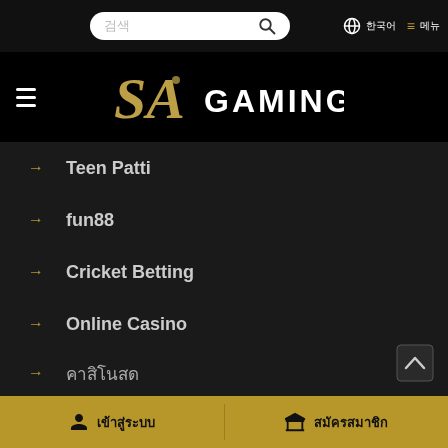[Figure (screenshot): SA Gaming website mobile navigation menu on dark background with search bar at top]
→ Teen Patti
→ fun88
→ Cricket Betting
→ Online Casino
→ คาสิโนสด
→ บาคาร่า
→ สล็อต
เข้าสู่ระบบ | สมัครสมาชิก